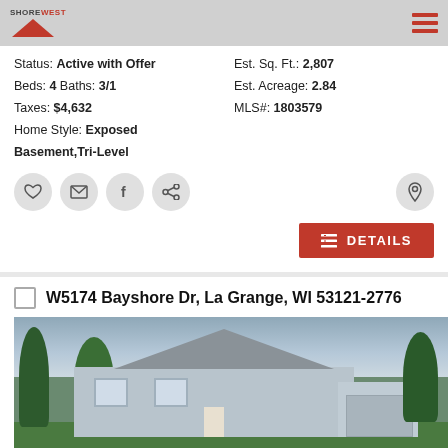[Figure (logo): Shorewest real estate logo with red triangle/roof shape]
Status: Active with Offer    Est. Sq. Ft.: 2,807
Beds: 4  Baths: 3/1    Est. Acreage: 2.84
Taxes: $4,632    MLS#: 1803579
Home Style: Exposed Basement,Tri-Level
W5174 Bayshore Dr, La Grange, WI 53121-2776
[Figure (photo): Exterior photo of a ranch-style house with gray roof, white/gray siding, attached garage, green lawn and trees, cloudy sky]